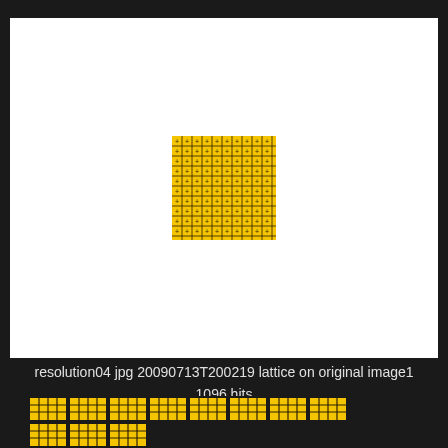[Figure (other): White panel showing a yellow lattice/grid pattern with dark cross markers centered in the white area. The lattice is a small square of approximately 10x10 yellow cells with dark grid lines forming a cross-hatch pattern.]
resolution04 jpg 20090713T200219 lattice on original image1
1096 hits
[Figure (other): Bottom strip showing a row of yellow lattice tiles/cells with dark grid lines, partially visible at the bottom of the dark background area.]